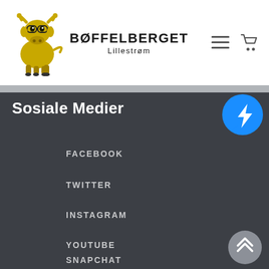[Figure (logo): Bøffelberget Lillestrøm logo with yellow bull illustration and brand name]
Sosiale Medier
[Figure (illustration): Facebook Messenger floating chat button (blue circle with lightning bolt)]
FACEBOOK
TWITTER
INSTAGRAM
YOUTUBE
SNAPCHAT
[Figure (illustration): Back-to-top button (grey circle with two upward chevrons)]